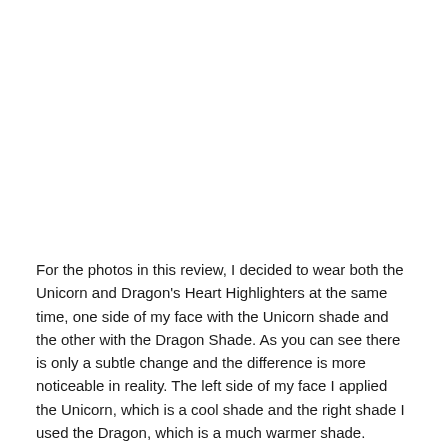For the photos in this review, I decided to wear both the Unicorn and Dragon's Heart Highlighters at the same time, one side of my face with the Unicorn shade and the other with the Dragon Shade. As you can see there is only a subtle change and the difference is more noticeable in reality. The left side of my face I applied the Unicorn, which is a cool shade and the right shade I used the Dragon, which is a much warmer shade. Ultimately, I think you can see the glow and that's what matters!